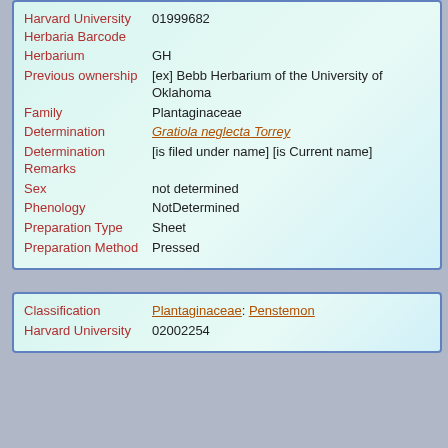| Field | Value |
| --- | --- |
| Harvard University Herbaria Barcode | 01999682 |
| Herbarium | GH |
| Previous ownership | [ex] Bebb Herbarium of the University of Oklahoma |
| Family | Plantaginaceae |
| Determination | Gratiola neglecta Torrey |
| Determination Remarks | [is filed under name] [is Current name] |
| Sex | not determined |
| Phenology | NotDetermined |
| Preparation Type | Sheet |
| Preparation Method | Pressed |
| Field | Value |
| --- | --- |
| Classification | Plantaginaceae: Penstemon |
| Harvard University Herbaria Barcode | 02002254 |